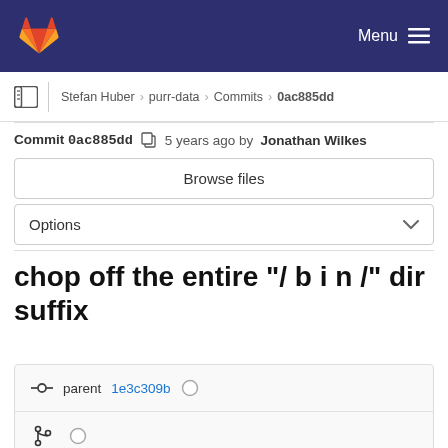GitLab · Menu
Stefan Huber > purr-data > Commits > 0ac885dd
Commit 0ac885dd  5 years ago by Jonathan Wilkes
Browse files
Options
chop off the entire "/ b i n /" dir suffix
parent 1e3c309b